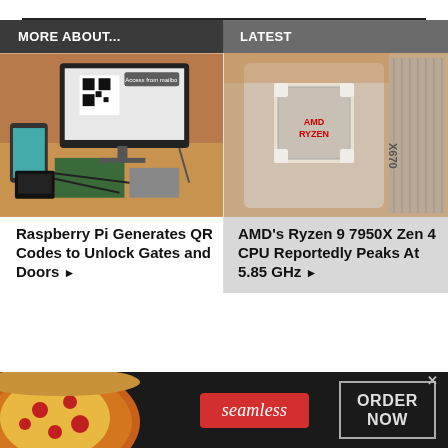MORE ABOUT...
LATEST
[Figure (photo): Raspberry Pi setup with monitor showing QR code, phone, and electronics on a desk]
Raspberry Pi Generates QR Codes to Unlock Gates and Doors ▶
[Figure (photo): AMD Ryzen CPU socket close-up, X670 chipset, with AMD RYZEN label visible]
AMD's Ryzen 9 7950X Zen 4 CPU Reportedly Peaks At 5.85 GHz ▶
[Figure (photo): Seamless food delivery advertisement banner with pizza image, seamless logo, and ORDER NOW button]